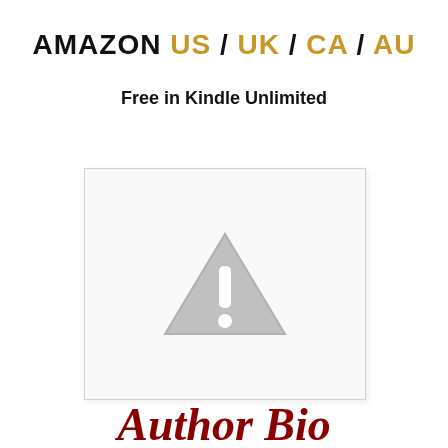AMAZON US / UK / CA / AU
Free in Kindle Unlimited
[Figure (illustration): Placeholder image box with a grey warning triangle and exclamation mark icon, indicating a missing or unavailable image.]
Author Bio